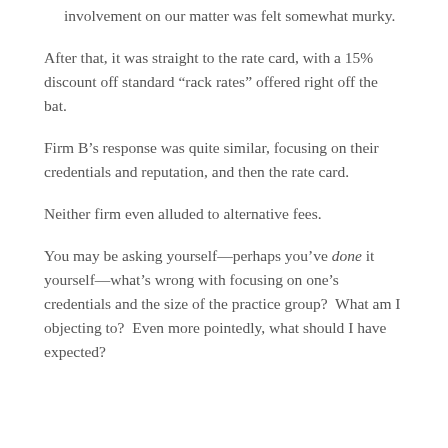involvement on our matter was felt somewhat murky.
After that, it was straight to the rate card, with a 15% discount off standard “rack rates” offered right off the bat.
Firm B’s response was quite similar, focusing on their credentials and reputation, and then the rate card.
Neither firm even alluded to alternative fees.
You may be asking yourself—perhaps you’ve done it yourself—what’s wrong with focusing on one’s credentials and the size of the practice group?  What am I objecting to?  Even more pointedly, what should I have expected?